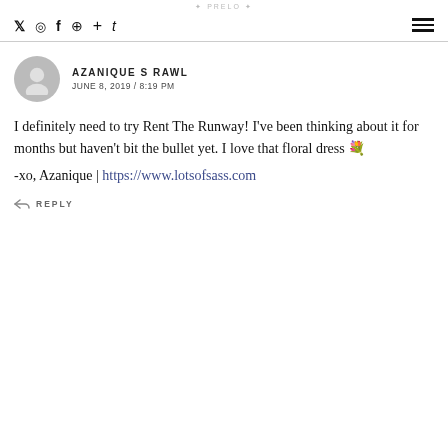AZANIQUE S RAWL — JUNE 8, 2019 / 8:19 PM
I definitely need to try Rent The Runway! I've been thinking about it for months but haven't bit the bullet yet. I love that floral dress 🌸
-xo, Azanique | https://www.lotsofsass.com
REPLY